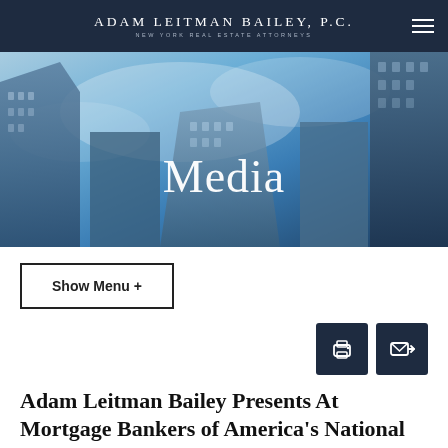ADAM LEITMAN BAILEY, P.C. — NEW YORK REAL ESTATE ATTORNEYS
[Figure (photo): Hero banner showing looking-up view of glass skyscrapers against blue sky with text 'Media' overlaid in white serif font]
Show Menu +
[Figure (infographic): Two dark navy icon buttons: a printer icon and an email/envelope icon with arrow]
Adam Leitman Bailey Presents At Mortgage Bankers of America's National Fraud Issues Conference in